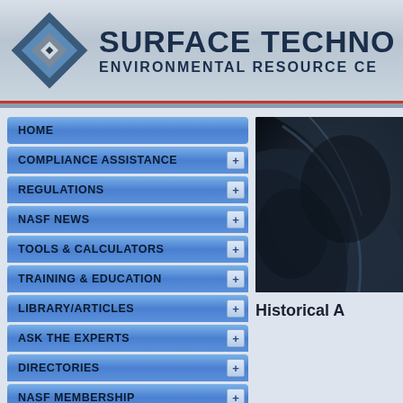[Figure (logo): Surface Technology Environmental Resource Center logo with diamond/square geometric icon in blue and gray, and organization name text]
SURFACE TECHNO
ENVIRONMENTAL RESOURCE CE
[Figure (photo): Dark industrial close-up photo of what appears to be turbine blades or curved metallic surfaces]
HOME
COMPLIANCE ASSISTANCE
REGULATIONS
NASF NEWS
TOOLS & CALCULATORS
TRAINING & EDUCATION
LIBRARY/ARTICLES
ASK THE EXPERTS
DIRECTORIES
NASF MEMBERSHIP
CONTACT
Historical A